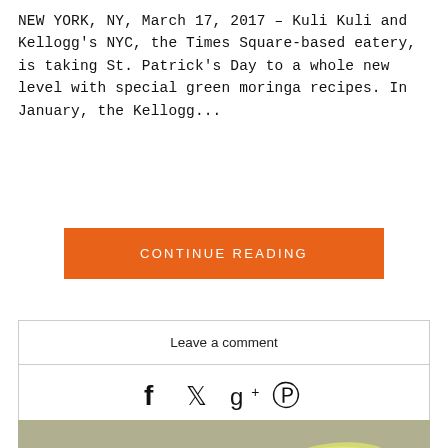NEW YORK, NY, March 17, 2017 – Kuli Kuli and Kellogg's NYC, the Times Square-based eatery, is taking St. Patrick's Day to a whole new level with special green moringa recipes. In January, the Kellogg...
CONTINUE READING
Leave a comment
[Figure (infographic): Social share icons: Facebook, Twitter, Google+, Pinterest]
[Figure (photo): Photo of a smoothie bowl with banana, greens, mushrooms on a wooden board]